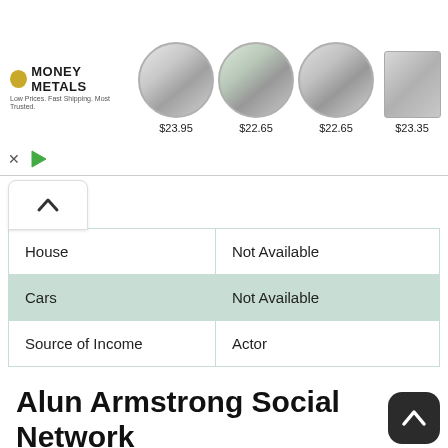[Figure (photo): Money Metals Exchange advertisement banner showing silver coins and bars with prices: Trump coin $23.95, Don't Tread on Me coin $22.65, American Eagle coin $22.65, silver bars $23.35]
| House | Not Available |
| Cars | Not Available |
| Source of Income | Actor |
Alun Armstrong Social Network
| Instagram |  |
| Linkedin |  |